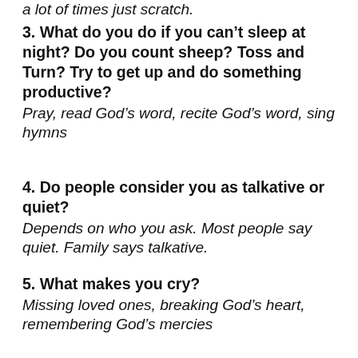a lot of times just scratch.
3. What do you do if you can't sleep at night? Do you count sheep? Toss and Turn? Try to get up and do something productive?
Pray, read God’s word, recite God’s word, sing hymns
4. Do people consider you as talkative or quiet?
Depends on who you ask. Most people say quiet. Family says talkative.
5. What makes you cry?
Missing loved ones, breaking God’s heart, remembering God’s mercies